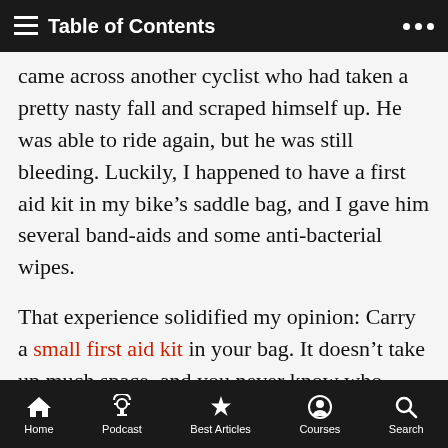Table of Contents
came across another cyclist who had taken a pretty nasty fall and scraped himself up. He was able to ride again, but he was still bleeding. Luckily, I happened to have a first aid kit in my bike’s saddle bag, and I gave him several band-aids and some anti-bacterial wipes.
That experience solidified my opinion: Carry a small first aid kit in your bag. It doesn’t take up much space, and you never know who might need it.
Mints or Gum
I like to carry either mints or gum to keep my breath fresh...
Home  Podcast  Best Articles  Courses  Search